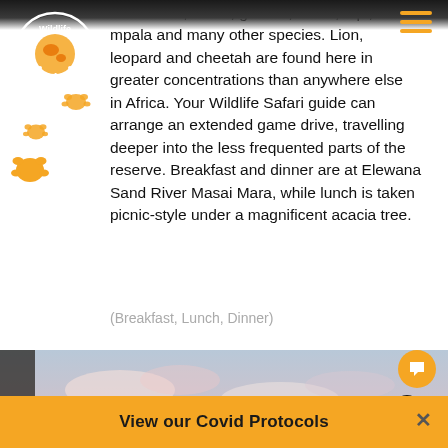[Figure (logo): Wildlife Safari circular logo with globe and paw prints]
wildebeest, zebra, gazelle, eland, topi, mpala and many other species. Lion, leopard and cheetah are found here in greater concentrations than anywhere else in Africa. Your Wildlife Safari guide can arrange an extended game drive, travelling deeper into the less frequented parts of the reserve. Breakfast and dinner are at Elewana Sand River Masai Mara, while lunch is taken picnic-style under a magnificent acacia tree.
(Breakfast, Lunch, Dinner)
[Figure (photo): Outdoor landscape photo with sky, clouds, and buildings/trees at sunset]
View our Covid Protocols